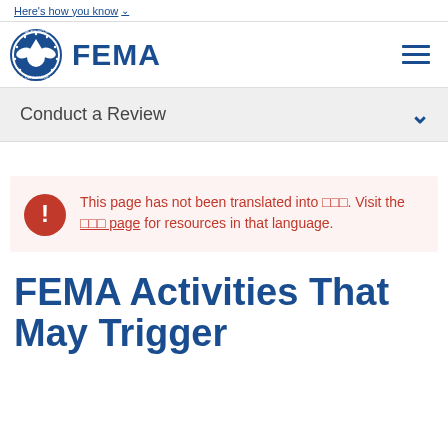Here's how you know
[Figure (logo): FEMA logo with DHS seal and FEMA wordmark]
Conduct a Review
This page has not been translated into ■■■. Visit the ■■■ page for resources in that language.
FEMA Activities That May Trigger